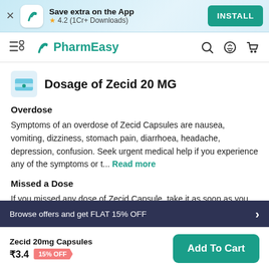[Figure (screenshot): App install banner with PharmEasy logo, star rating 4.2 (1Cr+ Downloads), and INSTALL button]
[Figure (screenshot): PharmEasy navigation bar with hamburger menu, logo, search, offers, and cart icons]
Dosage of Zecid 20 MG
Overdose
Symptoms of an overdose of Zecid Capsules are nausea, vomiting, dizziness, stomach pain, diarrhoea, headache, depression, confusion. Seek urgent medical help if you experience any of the symptoms or t... Read more
Missed a Dose
If you missed any dose of Zecid Capsule, take it as soon as you
Browse offers and get FLAT 15% OFF
Zecid 20mg Capsules ₹3.4 15% OFF Add To Cart